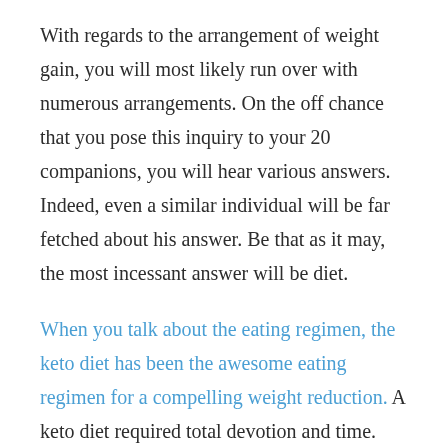With regards to the arrangement of weight gain, you will most likely run over with numerous arrangements. On the off chance that you pose this inquiry to your 20 companions, you will hear various answers. Indeed, even a similar individual will be far fetched about his answer. Be that as it may, the most incessant answer will be diet.
When you talk about the eating regimen, the keto diet has been the awesome eating regimen for a compelling weight reduction. A keto diet required total devotion and time. When you have enough time then you may pick an eating regimen plan. In any case, a dinner is costly, and it sets aside some effort to achieve ketosis. You need to give your time and you have to eat the dreary feast. Then again, eating a similar dinner will cause keto